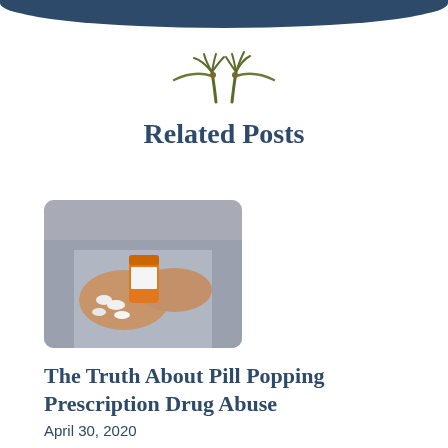[Figure (logo): Palm tree logo with decorative swoosh lines, olive/dark green color]
Related Posts
[Figure (photo): Hands pouring white pills from an orange prescription pill bottle into open palm, person wearing grey sweatshirt]
The Truth About Pill Popping Prescription Drug Abuse
April 30, 2020